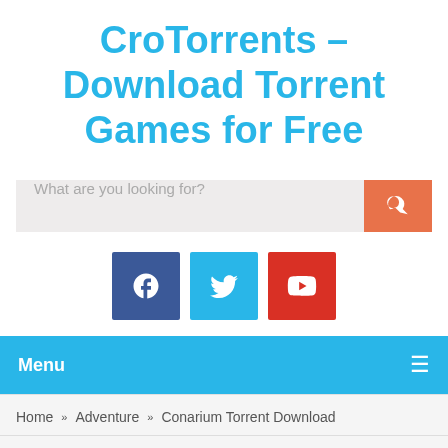CroTorrents – Download Torrent Games for Free
[Figure (screenshot): Search bar with placeholder text 'What are you looking for?' and an orange search button with magnifying glass icon]
[Figure (infographic): Three social media icons: Facebook (dark blue), Twitter (light blue), YouTube (red)]
Menu
Home » Adventure » Conarium Torrent Download